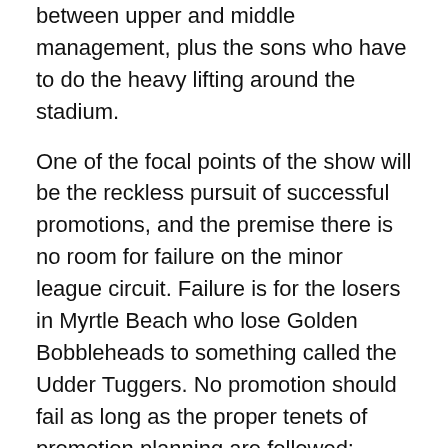between upper and middle management, plus the sons who have to do the heavy lifting around the stadium.
One of the focal points of the show will be the reckless pursuit of successful promotions, and the premise there is no room for failure on the minor league circuit. Failure is for the losers in Myrtle Beach who lose Golden Bobbleheads to something called the Udder Tuggers. No promotion should fail as long as the proper tenets of promotion planning are followed:
Defined purpose
Diligent research
Obtaining a generous sponsor
Targeted, consistent marketing
Precise execution
Killer playlist
Charismatic voice on the mic in case something goes